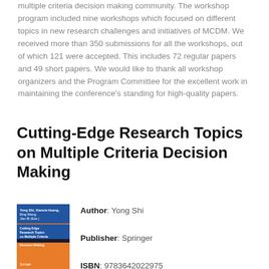multiple criteria decision making community. The workshop program included nine workshops which focused on different topics in new research challenges and initiatives of MCDM. We received more than 350 submissions for all the workshops, out of which 121 were accepted. This includes 72 regular papers and 49 short papers. We would like to thank all workshop organizers and the Program Committee for the excellent work in maintaining the conference’s standing for high-quality papers.
Cutting-Edge Research Topics on Multiple Criteria Decision Making
[Figure (illustration): Book cover of Cutting Edge Research Topics on Multiple Criteria Decision Making, blue and orange design]
Author: Yong Shi
Publisher: Springer
ISBN: 9783642022975
Category: Computers
Languages: en